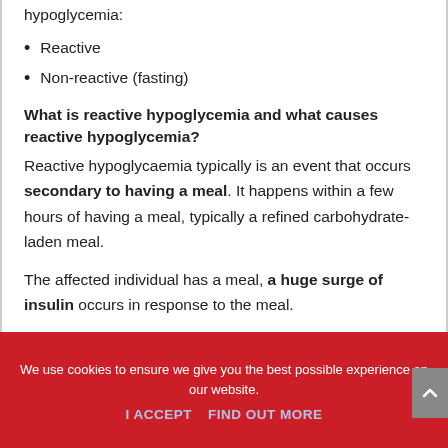hypoglycemia:
Reactive
Non-reactive (fasting)
What is reactive hypoglycemia and what causes reactive hypoglycemia?
Reactive hypoglycaemia typically is an event that occurs secondary to having a meal. It happens within a few hours of having a meal, typically a refined carbohydrate-laden meal.
The affected individual has a meal, a huge surge of insulin occurs in response to the meal.
We use cookies to ensure we give you the best possible experience on our website.